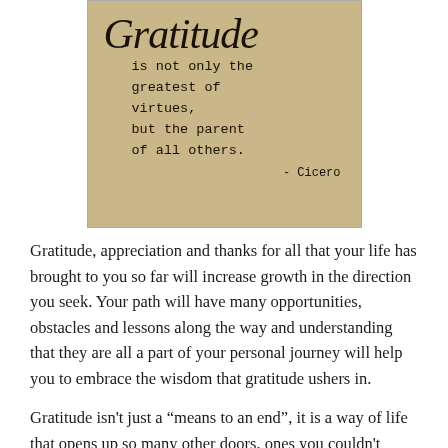[Figure (illustration): Vintage tan/kraft paper background with calligraphic script 'Gratitude' at top and typewriter-font text: 'is not only the greatest of virtues, but the parent of all others.' with attribution '- Cicero']
Gratitude, appreciation and thanks for all that your life has brought to you so far will increase growth in the direction you seek. Your path will have many opportunities, obstacles and lessons along the way and understanding that they are all a part of your personal journey will help you to embrace the wisdom that gratitude ushers in.
Gratitude isn't just a “means to an end”, it is a way of life that opens up so many other doors, ones you couldn't